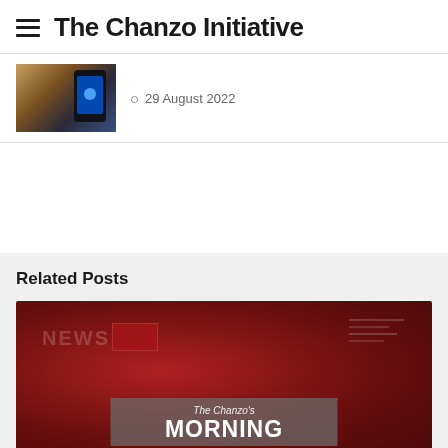The Chanzo Initiative
[Figure (photo): Thumbnail image of a smartphone with a blue app icon visible on screen, against a wooden surface background]
29 August 2022
Related Posts
[Figure (photo): Red background news banner image showing 'The Chanzo's MORNING' text overlay with news graphics and chart illustrations in the background]